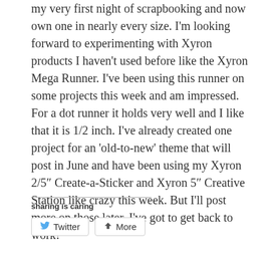my very first night of scrapbooking and now own one in nearly every size. I'm looking forward to experimenting with Xyron products I haven't used before like the Xyron Mega Runner. I've been using this runner on some projects this week and am impressed. For a dot runner it holds very well and I like that it is 1/2 inch. I've already created one project for an 'old-to-new' theme that will post in June and have been using my Xyron 2/5″ Create-a-Sticker and Xyron 5″ Creative Station like crazy this week. But I'll post more on those later. I've got to get back to work!
sharing is caring
[Figure (other): Social sharing buttons: Twitter and More]